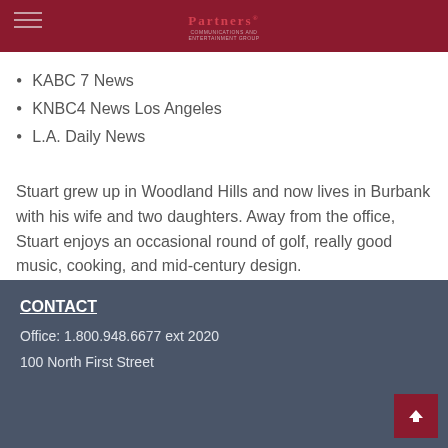Partners logo / navigation header
KABC 7 News
KNBC4 News Los Angeles
L.A. Daily News
Stuart grew up in Woodland Hills and now lives in Burbank with his wife and two daughters. Away from the office, Stuart enjoys an occasional round of golf, really good music, cooking, and mid-century design.
CONTACT
Office: 1.800.948.6677 ext 2020
100 North First Street